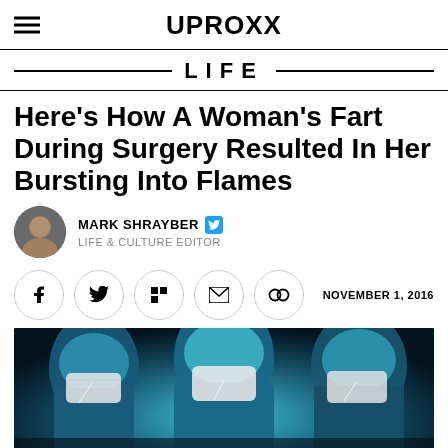UPROXX
LIFE
Here’s How A Woman’s Fart During Surgery Resulted In Her Bursting Into Flames
MARK SHRAYBER — LIFE & CULTURE EDITOR
NOVEMBER 1, 2016
[Figure (photo): Three surgeons in blue surgical gowns, caps, and masks viewed from below, leaning over in a dark operating room with blue-tinted lighting]